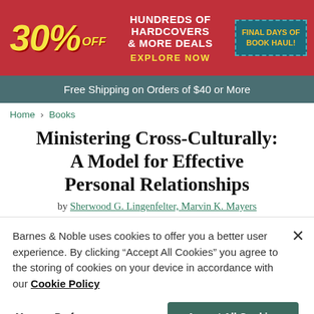[Figure (other): Barnes & Noble promotional banner: 30% OFF HUNDREDS OF HARDCOVERS & MORE DEALS, EXPLORE NOW, FINAL DAYS OF BOOK HAUL!]
Free Shipping on Orders of $40 or More
Home > Books
Ministering Cross-Culturally: A Model for Effective Personal Relationships
by Sherwood G. Lingenfelter, Marvin K. Mayers
Barnes & Noble uses cookies to offer you a better user experience. By clicking "Accept All Cookies" you agree to the storing of cookies on your device in accordance with our Cookie Policy
Manage Preferences
Accept All Cookies